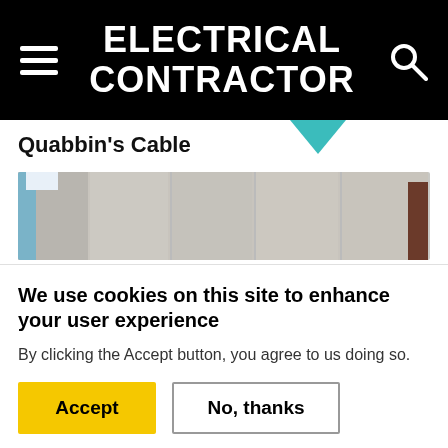ELECTRICAL CONTRACTOR
Quabbin's Cable
[Figure (photo): Partial view of an interior room or building corridor with gray walls and panels, slightly blurred.]
We use cookies on this site to enhance your user experience
By clicking the Accept button, you agree to us doing so.
Accept | No, thanks